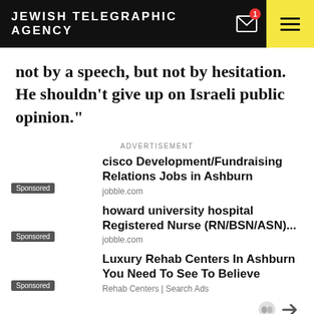JEWISH TELEGRAPHIC AGENCY
not by a speech, but not by hesitation. He shouldn’t give up on Israeli public opinion.”
ADVERTISEMENT
cisco Development/Fundraising Relations Jobs in Ashburn
jobble.com
howard university hospital Registered Nurse (RN/BSN/ASN)...
jobble.com
Luxury Rehab Centers In Ashburn You Need To See To Believe
Rehab Centers | Search Ads